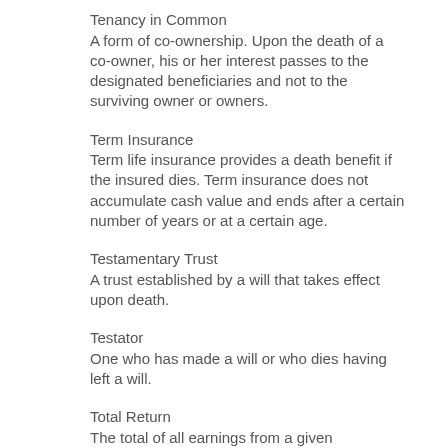Tenancy in Common
A form of co-ownership. Upon the death of a co-owner, his or her interest passes to the designated beneficiaries and not to the surviving owner or owners.
Term Insurance
Term life insurance provides a death benefit if the insured dies. Term insurance does not accumulate cash value and ends after a certain number of years or at a certain age.
Testamentary Trust
A trust established by a will that takes effect upon death.
Testator
One who has made a will or who dies having left a will.
Total Return
The total of all earnings from a given investment, including dividends, interest, and any capital gain.
Trust
A legal entity created by an individual in which one person or institution holds the right to manage property or assets for the benefit of someone else.